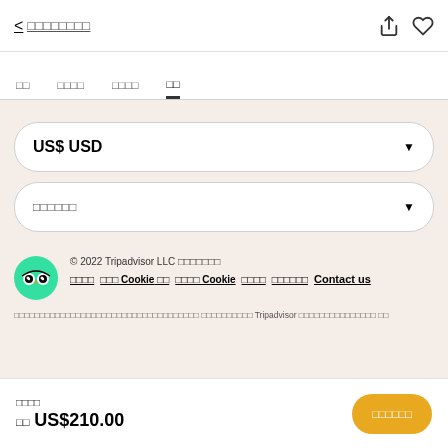< ▯▯▯▯▯▯▯▯
▯▯
▯▯▯▯
▯▯▯▯
▯▯
US$ USD
▯▯▯▯▯▯
© 2022 Tripadvisor LLC ▯▯▯▯▯▯▯
▯▯▯▯  ▯▯▯ Cookie ▯▯  ▯▯▯▯ Cookie  ▯▯▯▯  ▯▯▯▯▯▯  Contact us
▯▯▯▯▯▯▯▯▯▯▯▯▯▯▯▯▯▯▯▯▯▯▯▯▯▯▯▯▯▯▯▯▯▯▯▯ ▯▯▯▯▯▯▯▯▯▯ Tripadvisor ▯▯▯▯▯▯▯▯▯▯▯▯▯▯▯ ▯▯
▯▯▯▯
▯▯ US$210.00
▯▯▯▯▯▯